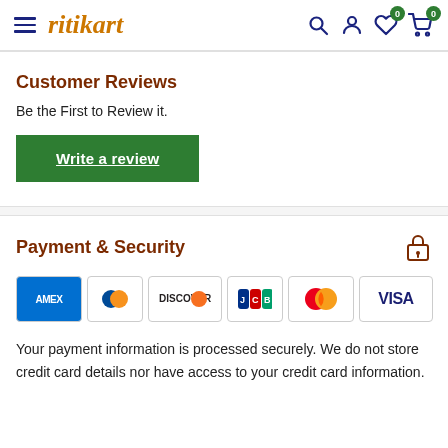ritikart
Customer Reviews
Be the First to Review it.
Write a review
Payment & Security
[Figure (other): Payment method logos: AMEX, Diners Club, Discover, JCB, Mastercard, Visa]
Your payment information is processed securely. We do not store credit card details nor have access to your credit card information.